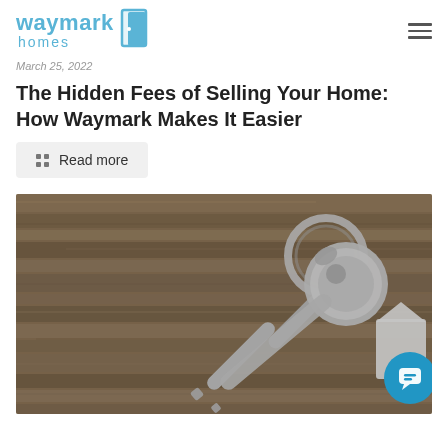waymark homes
March 25, 2022
The Hidden Fees of Selling Your Home: How Waymark Makes It Easier
Read more
[Figure (photo): House keys on a key ring resting on a rustic wooden surface, with a white house-shaped key fob tag visible. A circular blue chat/support icon is overlaid in the bottom right corner.]